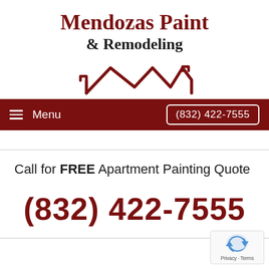Mendozas Paint & Remodeling
[Figure (logo): Stylized dark red roofline / house outline logo icon with three peaks]
Menu   (832) 422-7555
Call for FREE Apartment Painting Quote
(832) 422-7555
[Figure (other): Google reCAPTCHA badge with Privacy and Terms links]